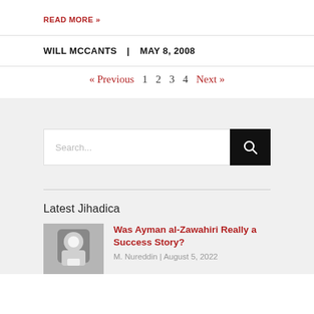READ MORE »
WILL MCCANTS  |  MAY 8, 2008
« Previous  1  2  3  4  Next »
[Figure (screenshot): Search bar with black search button containing a magnifying glass icon]
Latest Jihadica
Was Ayman al-Zawahiri Really a Success Story?
M. Nureddin | August 5, 2022